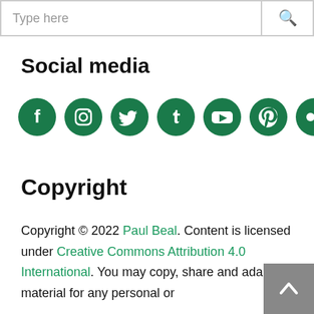Type here
Social media
[Figure (illustration): Eight green circular social media icons: Facebook, Instagram, Twitter, Tumblr, YouTube, Pinterest, Flickr, LinkedIn]
Copyright
Copyright © 2022 Paul Beal. Content is licensed under Creative Commons Attribution 4.0 International. You may copy, share and adapt the material for any personal or